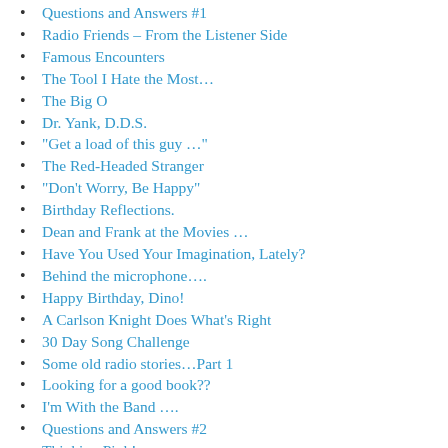Questions and Answers #1
Radio Friends – From the Listener Side
Famous Encounters
The Tool I Hate the Most…
The Big O
Dr. Yank, D.D.S.
“Get a load of this guy …”
The Red-Headed Stranger
“Don’t Worry, Be Happy”
Birthday Reflections.
Dean and Frank at the Movies …
Have You Used Your Imagination, Lately?
Behind the microphone….
Happy Birthday, Dino!
A Carlson Knight Does What’s Right
30 Day Song Challenge
Some old radio stories…Part 1
Looking for a good book??
I’m With the Band ….
Questions and Answers #2
Thinking Pink!
Spooky Flicks
Top Fives
The Dream